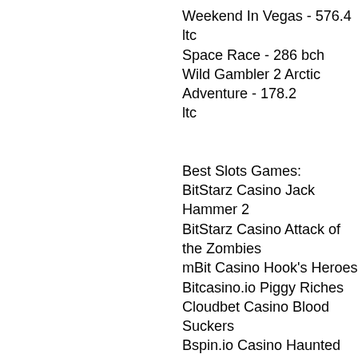Weekend In Vegas - 576.4 ltc
Space Race - 286 bch
Wild Gambler 2 Arctic Adventure - 178.2 ltc
Best Slots Games:
BitStarz Casino Jack Hammer 2
BitStarz Casino Attack of the Zombies
mBit Casino Hook's Heroes
Bitcasino.io Piggy Riches
Cloudbet Casino Blood Suckers
Bspin.io Casino Haunted House
Mars Casino Flowers: Christmas Edition
CryptoGames Sky Way
Bspin.io Casino Munchkins
Bitcoin Penguin Casino Platoon
22Bet Casino Belissimo
Cloudbet Casino 4 Seasons
Bitcasino.io Magician Dreaming
Vegas Crest Casino Glamorous Times
Playamo Casino Clash of Pirates